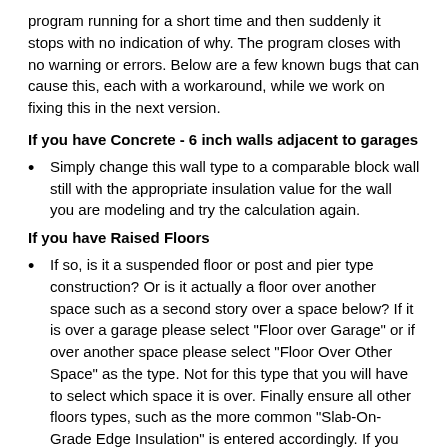program running for a short time and then suddenly it stops with no indication of why. The program closes with no warning or errors. Below are a few known bugs that can cause this, each with a workaround, while we work on fixing this in the next version.
If you have Concrete - 6 inch walls adjacent to garages
Simply change this wall type to a comparable block wall still with the appropriate insulation value for the wall you are modeling and try the calculation again.
If you have Raised Floors
If so, is it a suspended floor or post and pier type construction? Or is it actually a floor over another space such as a second story over a space below? If it is over a garage please select "Floor over Garage" or if over another space please select "Floor Over Other Space" as the type. Not for this type that you will have to select which space it is over. Finally ensure all other floors types, such as the more common "Slab-On-Grade Edge Insulation" is entered accordingly. If you made any changes to account for this run your calculation and see if your results change.
If you have Photovoltaic (PV) systems in place,